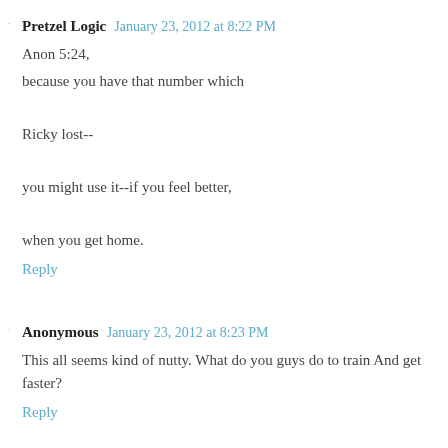Pretzel Logic  January 23, 2012 at 8:22 PM
Anon 5:24,
because you have that number which

Ricky lost--

you might use it--if you feel better,

when you get home.
Reply
Anonymous  January 23, 2012 at 8:23 PM
This all seems kind of nutty. What do you guys do to train And get faster?
Reply
Anonymous  January 23, 2012 at 8:30 PM